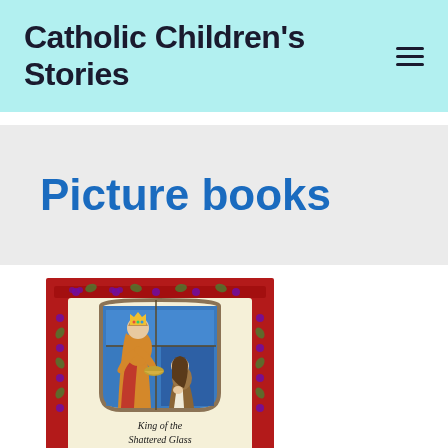Catholic Children's Stories
Picture books
[Figure (illustration): Book cover for 'King of the Shattered Glass' — a stained-glass style illustration showing a crowned figure (king) placing something on the head of a kneeling girl, set within an arched window frame with blue background and decorative floral border in red and gold]